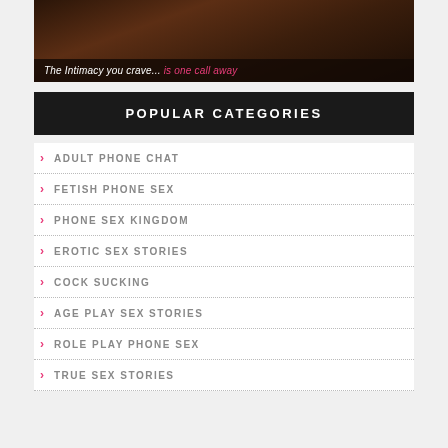[Figure (photo): Banner image of a woman with tagline: The Intimacy you crave... is one call away]
POPULAR CATEGORIES
ADULT PHONE CHAT
FETISH PHONE SEX
PHONE SEX KINGDOM
EROTIC SEX STORIES
COCK SUCKING
AGE PLAY SEX STORIES
ROLE PLAY PHONE SEX
TRUE SEX STORIES